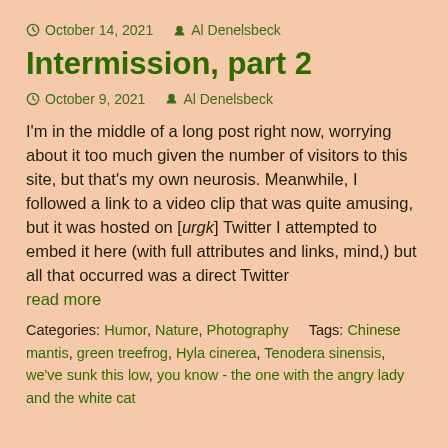October 14, 2021  Al Denelsbeck
Intermission, part 2
October 9, 2021  Al Denelsbeck
I'm in the middle of a long post right now, worrying about it too much given the number of visitors to this site, but that's my own neurosis. Meanwhile, I followed a link to a video clip that was quite amusing, but it was hosted on [urgk] Twitter I attempted to embed it here (with full attributes and links, mind,) but all that occurred was a direct Twitter
read more
Categories: Humor, Nature, Photography    Tags: Chinese mantis, green treefrog, Hyla cinerea, Tenodera sinensis, we've sunk this low, you know - the one with the angry lady and the white cat